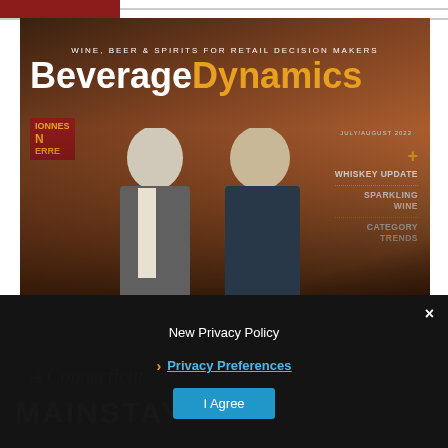[Figure (photo): Magazine cover of Beverage Dynamics July/August 2022, showing two men in suits standing in front of a wine rack. The cover features the tagline 'WINE, BEER & SPIRITS FOR RETAIL DECISION MAKERS' and sidebar items: WHISKEY UPDATE, SPARKLING WINE, CATEGORY TRENDS.]
Beverage Dynamics
WINE, BEER & SPIRITS FOR RETAIL DECISION MAKERS
JULY/AUGUST 2022
+ WHISKEY UPDATE
SPARKLING WINE
CATEGORY TRENDS
New Privacy Policy
Privacy Preferences
I Agree
A Connecticut
MAINSTAY